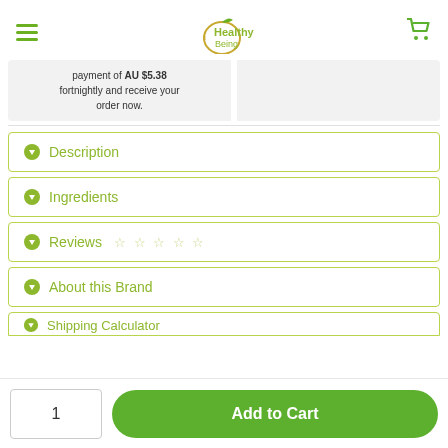Healthy Being — header with hamburger menu, logo, and cart icon
payment of AU $5.38 fortnightly and receive your order now.
Description
Ingredients
Reviews ☆ ☆ ☆ ☆ ☆
About this Brand
Shipping Calculator
1
Add to Cart